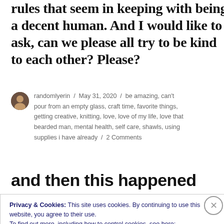rules that seem in keeping with being a decent human. And I would like to ask, can we please all try to be kind to each other? Please?
randomlyerin / May 31, 2020 / be amazing, can't pour from an empty glass, craft time, favorite things, getting creative, knitting, love, love of my life, love that bearded man, mental health, self care, shawls, using supplies i have already / 2 Comments
and then this happened
Privacy & Cookies: This site uses cookies. By continuing to use this website, you agree to their use.
To find out more, including how to control cookies, see here: Cookie Policy
Close and accept